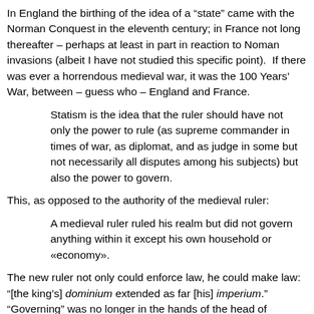In England the birthing of the idea of a “state” came with the Norman Conquest in the eleventh century; in France not long thereafter – perhaps at least in part in reaction to Noman invasions (albeit I have not studied this specific point).  If there was ever a horrendous medieval war, it was the 100 Years’ War, between – guess who – England and France.
Statism is the idea that the ruler should have not only the power to rule (as supreme commander in times of war, as diplomat, and as judge in some but not necessarily all disputes among his subjects) but also the power to govern.
This, as opposed to the authority of the medieval ruler:
A medieval ruler ruled his realm but did not govern anything within it except his own household or «economy».
The new ruler not only could enforce law, he could make law: “[the king’s] dominium extended as far [his] imperium.” “Governing” was no longer in the hands of the head of